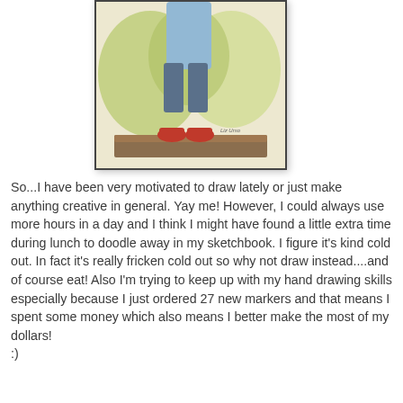[Figure (illustration): A watercolor/marker illustration showing the lower body of a person standing on a brown ground surface, wearing a light blue shirt, dark blue shorts, and red shoes. A green bush is in the background. Artist signature 'Liz Urso' visible in lower right of illustration.]
So...I have been very motivated to draw lately or just make anything creative in general. Yay me! However, I could always use more hours in a day and I think I might have found a little extra time during lunch to doodle away in my sketchbook. I figure it's kind cold out. In fact it's really fricken cold out so why not draw instead....and of course eat! Also I'm trying to keep up with my hand drawing skills especially because I just ordered 27 new markers and that means I spent some money which also means I better make the most of my dollars!
:)